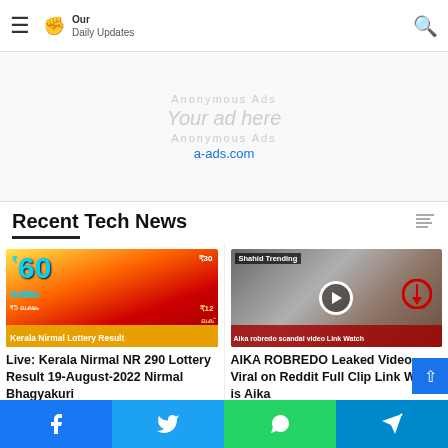Our Daily Updates — site header with hamburger menu and search icon
[Figure (screenshot): Advertisement placeholder showing 'Your ad here', 'Anonymous Ads', 'a-ads.com']
Recent Tech News
[Figure (photo): Kerala Nirmal Lottery Result promotional image with ₹60 Lakh prize text]
Live: Kerala Nirmal NR 290 Lottery Result 19-August-2022 Nirmal Bhagyakuri
[Figure (screenshot): Video thumbnail with 'Shahid Trending' label and 'Aika robredo scandal video Link Watch' caption, showing a woman in pink mask]
AIKA ROBREDO Leaked Video Viral on Reddit Full Clip Link Who is Aika
Social share buttons: Facebook, Twitter, WhatsApp, Telegram